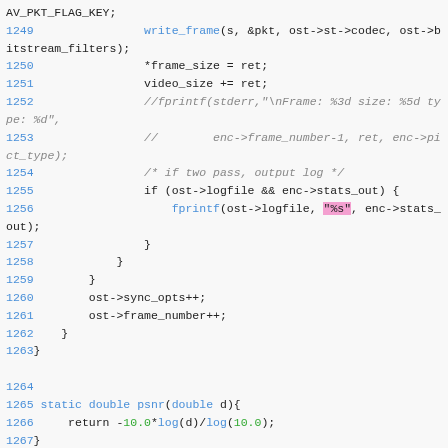Source code listing lines 1249-1267 showing C code for video encoding with write_frame, frame_size, video_size, fprintf logging, logfile stats output, sync_opts, frame_number increment, closing braces, and static double psnr function.